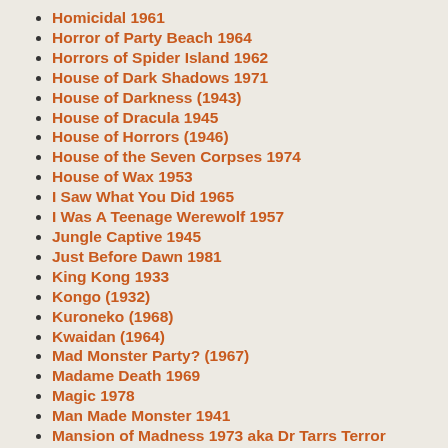Homicidal 1961
Horror of Party Beach 1964
Horrors of Spider Island 1962
House of Dark Shadows 1971
House of Darkness (1943)
House of Dracula 1945
House of Horrors (1946)
House of the Seven Corpses 1974
House of Wax 1953
I Saw What You Did 1965
I Was A Teenage Werewolf 1957
Jungle Captive 1945
Just Before Dawn 1981
King Kong 1933
Kongo (1932)
Kuroneko (1968)
Kwaidan (1964)
Mad Monster Party? (1967)
Madame Death 1969
Magic 1978
Man Made Monster 1941
Mansion of Madness 1973 aka Dr Tarrs Terror Dungeon
Mark of the Vampire 1935
Master of Horror 1965
Messiah of Evil aka Dead People 1973